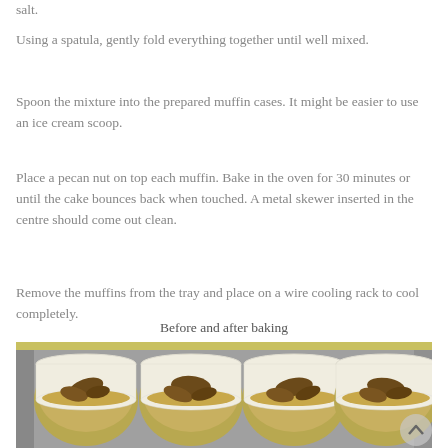salt.
Using a spatula, gently fold everything together until well mixed.
Spoon the mixture into the prepared muffin cases. It might be easier to use an ice cream scoop.
Place a pecan nut on top each muffin. Bake in the oven for 30 minutes or until the cake bounces back when touched. A metal skewer inserted in the centre should come out clean.
Remove the muffins from the tray and place on a wire cooling rack to cool completely.
Before and after baking
[Figure (photo): Muffin tin with four unbaked muffins in paper cases, each topped with a pecan nut, before baking. Yellow background visible behind the tin.]